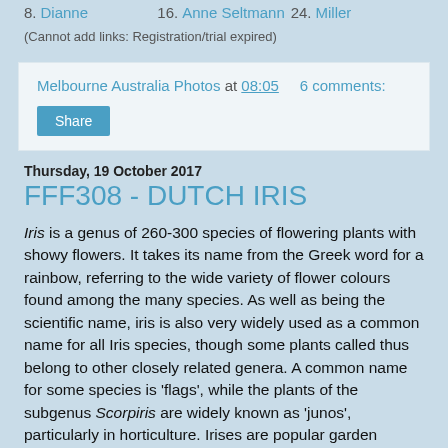8. Dianne
16. Anne Seltmann
24. Miller
(Cannot add links: Registration/trial expired)
Melbourne Australia Photos at 08:05   6 comments:
Share
Thursday, 19 October 2017
FFF308 - DUTCH IRIS
Iris is a genus of 260-300 species of flowering plants with showy flowers. It takes its name from the Greek word for a rainbow, referring to the wide variety of flower colours found among the many species. As well as being the scientific name, iris is also very widely used as a common name for all Iris species, though some plants called thus belong to other closely related genera. A common name for some species is 'flags', while the plants of the subgenus Scorpiris are widely known as 'junos', particularly in horticulture. Irises are popular garden flowers. The showy graceful blooms of Dutch